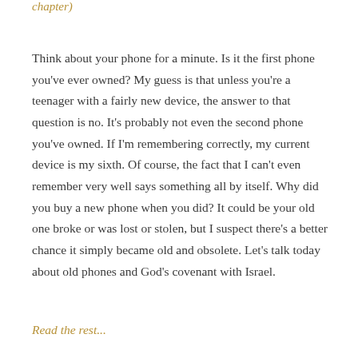chapter)
Think about your phone for a minute. Is it the first phone you've ever owned? My guess is that unless you're a teenager with a fairly new device, the answer to that question is no. It's probably not even the second phone you've owned. If I'm remembering correctly, my current device is my sixth. Of course, the fact that I can't even remember very well says something all by itself. Why did you buy a new phone when you did? It could be your old one broke or was lost or stolen, but I suspect there's a better chance it simply became old and obsolete. Let's talk today about old phones and God's covenant with Israel.
Read the rest...